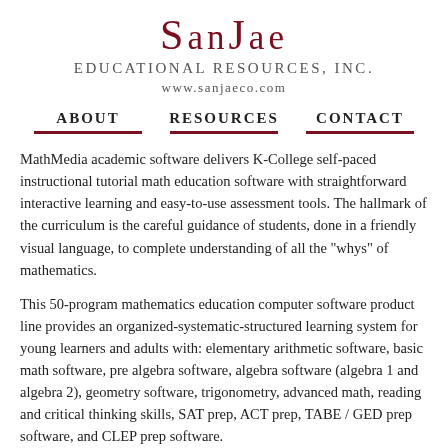SanJae Educational Resources, Inc. www.sanjaeco.com
ABOUT   RESOURCES   CONTACT
MathMedia academic software delivers K-College self-paced instructional tutorial math education software with straightforward interactive learning and easy-to-use assessment tools. The hallmark of the curriculum is the careful guidance of students, done in a friendly visual language, to complete understanding of all the "whys" of mathematics.
This 50-program mathematics education computer software product line provides an organized-systematic-structured learning system for young learners and adults with: elementary arithmetic software, basic math software, pre algebra software, algebra software (algebra 1 and algebra 2), geometry software, trigonometry, advanced math, reading and critical thinking skills, SAT prep, ACT prep, TABE / GED prep software, and CLEP prep software.